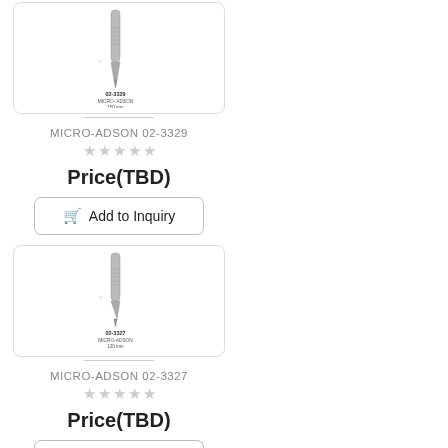[Figure (photo): MICRO-ADSON forceps 02-3329 150mm surgical instrument photo with label]
MICRO-ADSON 02-3329
Price(TBD)
Add to Inquiry
[Figure (photo): MICRO-ADSON forceps 02-3327 120mm surgical instrument photo with label]
MICRO-ADSON 02-3327
Price(TBD)
Add to Inquiry
[Figure (photo): THORPE Corneal forceps 02-3326 120mm surgical instrument photo with label showing front and side view]
THORPE 02-3326